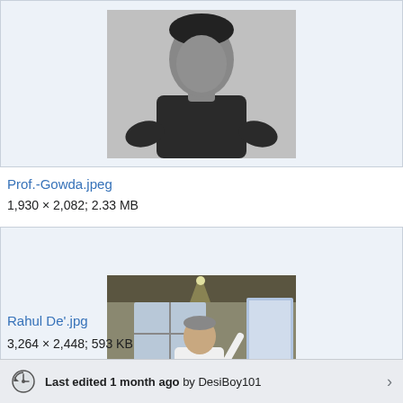[Figure (photo): Black and white photo of a person (partially visible, cropped at top), shown from shoulders up wearing a dark shirt, arms crossed.]
Prof.-Gowda.jpeg
1,930 × 2,082; 2.33 MB
[Figure (photo): Color photo of an older man in a white shirt speaking at a lectern or event, with a projected screen visible to the right and industrial/warehouse-style ceiling above.]
Rahul De'.jpg
3,264 × 2,448; 593 KB
Last edited 1 month ago by DesiBoy101